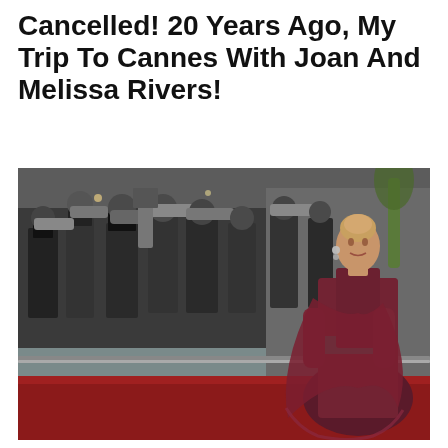Cancelled! 20 Years Ago, My Trip To Cannes With Joan And Melissa Rivers!
[Figure (photo): A woman in an elegant dark lace and burgundy gown posing on a red carpet at the Cannes Film Festival, with a large crowd of photographers and camera operators in the background holding cameras and camera equipment.]